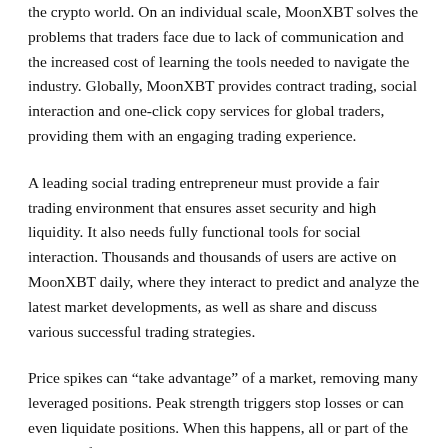the crypto world. On an individual scale, MoonXBT solves the problems that traders face due to lack of communication and the increased cost of learning the tools needed to navigate the industry. Globally, MoonXBT provides contract trading, social interaction and one-click copy services for global traders, providing them with an engaging trading experience.
A leading social trading entrepreneur must provide a fair trading environment that ensures asset security and high liquidity. It also needs fully functional tools for social interaction. Thousands and thousands of users are active on MoonXBT daily, where they interact to predict and analyze the latest market developments, as well as share and discuss various successful trading strategies.
Price spikes can “take advantage” of a market, removing many leveraged positions. Peak strength triggers stop losses or can even liquidate positions. When this happens, all or part of the margin left in his account is taken by the exchange.